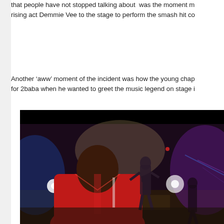that people have not stopped talking about  was the moment m rising act Demmie Vee to the stage to perform the smash hit co
Another ‘aww’ moment of the incident was how the young chap for 2baba when he wanted to greet the music legend on stage i
[Figure (photo): Concert/stage scene viewed from behind a person in a red jacket. On stage, performers are visible with dramatic blue and purple stage lighting effects.]